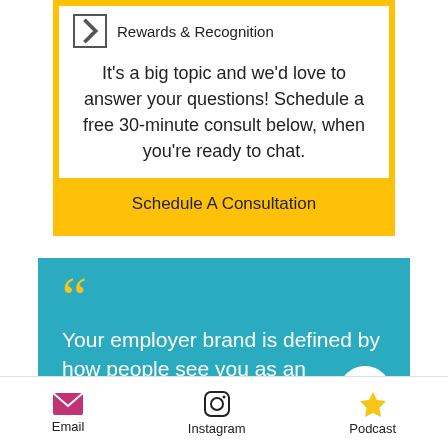Rewards & Recognition
It's a big topic and we'd love to answer your questions! Schedule a free 30-minute consult below, when you're ready to chat.
Schedule A Consultation
Your employer brand is defined by how people see you as an employer. Whether you manage it or not, whether positive or
Email  Instagram  Podcast